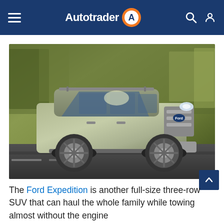Autotrader
[Figure (photo): Ford Expedition SUV driving on a road, motion-blurred background of trees and rocks, silver/grey exterior, front 3/4 view]
The Ford Expedition is another full-size three-row SUV that can haul the whole family while towing almost without the engine